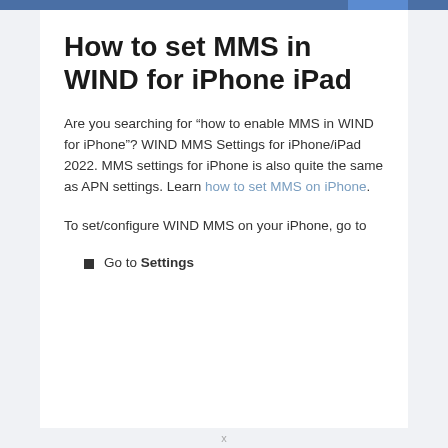How to set MMS in WIND for iPhone iPad
Are you searching for “how to enable MMS in WIND for iPhone”? WIND MMS Settings for iPhone/iPad 2022. MMS settings for iPhone is also quite the same as APN settings. Learn how to set MMS on iPhone.
To set/configure WIND MMS on your iPhone, go to
Go to Settings